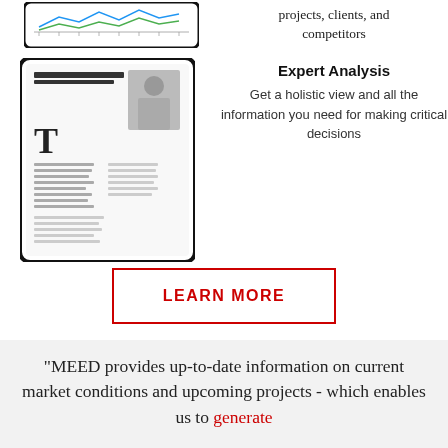projects, clients, and competitors
[Figure (screenshot): Tablet device displaying a magazine article page with 'Tearing up the Fiscal Info book' headline and photo of a man in suit]
Expert Analysis
Get a holistic view and all the information you need for making critical decisions
LEARN MORE
“MEED provides up-to-date information on current market conditions and upcoming projects - which enables us to generate